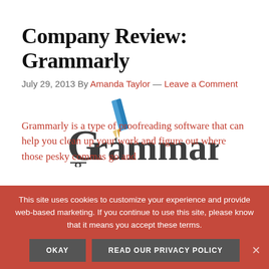Company Review: Grammarly
July 29, 2013 By Amanda Taylor — Leave a Comment
[Figure (logo): Grammarly logo with pencil icon above stylized text 'Grammarly' in dark gray]
Grammarly is a type of proofreading software that can help you clean up your work and figure out where those pesky commas go and
This site uses cookies to customize your experience and provide web-based marketing. If you continue to use this site, please know that it means you accept these terms.
OKAY | READ OUR PRIVACY POLICY